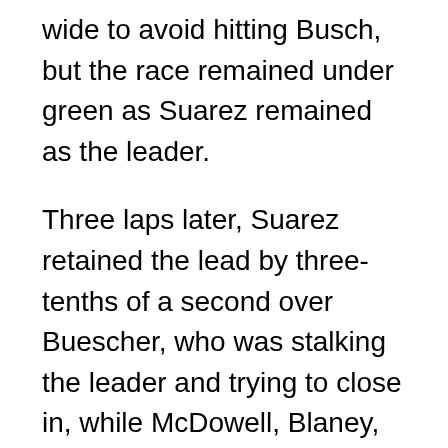wide to avoid hitting Busch, but the race remained under green as Suarez remained as the leader.
Three laps later, Suarez retained the lead by three-tenths of a second over Buescher, who was stalking the leader and trying to close in, while McDowell, Blaney, Cindric, Harvick, Briscoe, Elliott, Byron and Truex were in the top 10. Allmendinger was in 11th followed by Bell, Chastain, Hamlin, Ty Dillon, Keselowski, Burton, Kurt Busch, Austin Dillon and Aric Almirola. By then, Larson was in 23rd, Logano was mired back in 25th ahead of Bowman and Kyle Busch was all the way back in 32nd.
With 15 laps remaining, Suarez stabilized his